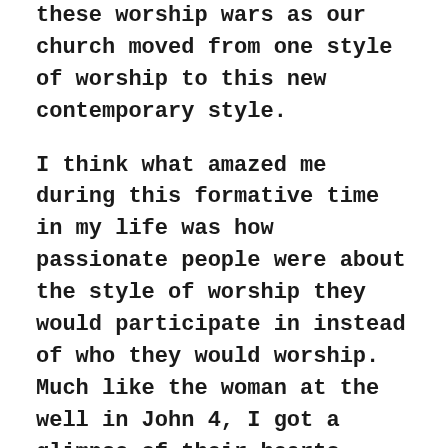these worship wars as our church moved from one style of worship to this new contemporary style.
I think what amazed me during this formative time in my life was how passionate people were about the style of worship they would participate in instead of who they would worship. Much like the woman at the well in John 4, I got a glimpse of their hearts.
We get a glimpse of the woman's heart as she interacted with Jesus. What Jesus said to the woman was revolutionary as she learned God could be her Father, through Jesus, and the Holy Spirit would empower her to be a worshiper. Did you notice what Jesus said to her? "The Father is seeking